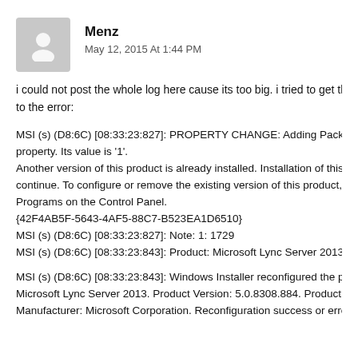Menz
May 12, 2015 At 1:44 PM
i could not post the whole log here cause its too big. i tried to get the s to the error:
MSI (s) (D8:6C) [08:33:23:827]: PROPERTY CHANGE: Adding Packagec property. Its value is '1'.
Another version of this product is already installed. Installation of this continue. To configure or remove the existing version of this product, Programs on the Control Panel.
{42F4AB5F-5643-4AF5-88C7-B523EA1D6510}
MSI (s) (D8:6C) [08:33:23:827]: Note: 1: 1729
MSI (s) (D8:6C) [08:33:23:843]: Product: Microsoft Lync Server 2013 —
MSI (s) (D8:6C) [08:33:23:843]: Windows Installer reconfigured the pro Microsoft Lync Server 2013. Product Version: 5.0.8308.884. Product L Manufacturer: Microsoft Corporation. Reconfiguration success or erro